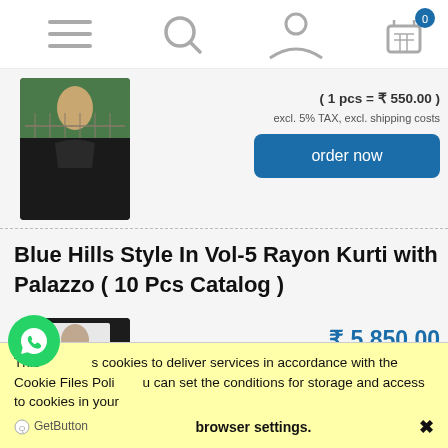[Figure (screenshot): Mobile navigation bar with hamburger menu, search icon, user/account icon, and shopping cart with badge showing 0]
( 1 pcs = ₹ 550.00 )
excl. 5% TAX, excl. shipping costs
order now
[Figure (photo): Product photo of a black kurti/dress worn by a model]
Blue Hills Style In Vol-5 Rayon Kurti with Palazzo ( 10 Pcs Catalog )
[Figure (photo): Product photo of Blue Hills Style In Vol-5 Rayon Kurti with Palazzo, black dress on model]
₹ 5,850.00
( 1 pcs = ₹ 585.00 )
excl. 5% TAX, excl. shipping costs
This uses cookies to deliver services in accordance with the Cookie Files Policy. You can set the conditions for storage and access to cookies in your browser settings. ✕
GetButton